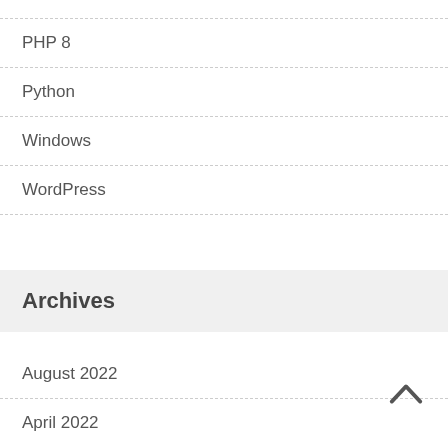PHP 8
Python
Windows
WordPress
Archives
August 2022
April 2022